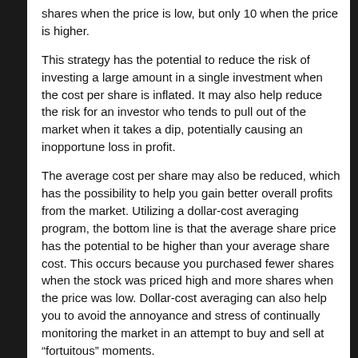shares when the price is low, but only 10 when the price is higher.
This strategy has the potential to reduce the risk of investing a large amount in a single investment when the cost per share is inflated. It may also help reduce the risk for an investor who tends to pull out of the market when it takes a dip, potentially causing an inopportune loss in profit.
The average cost per share may also be reduced, which has the possibility to help you gain better overall profits from the market. Utilizing a dollar-cost averaging program, the bottom line is that the average share price has the potential to be higher than your average share cost. This occurs because you purchased fewer shares when the stock was priced high and more shares when the price was low. Dollar-cost averaging can also help you to avoid the annoyance and stress of continually monitoring the market in an attempt to buy and sell at “fortuitous” moments.
Dollar-cost averaging is a long-range plan, as implied by the word “averaging.” In other words, the technique’s best use comes only after you’ve stuck with it for a while, despite any nerve-racking swings in the market. When other panicky investors are scrambling to get out of the market because it has declined and to get back into it when the market has risen, you’ll keep investing a specific amount based on the interval you’ve set.